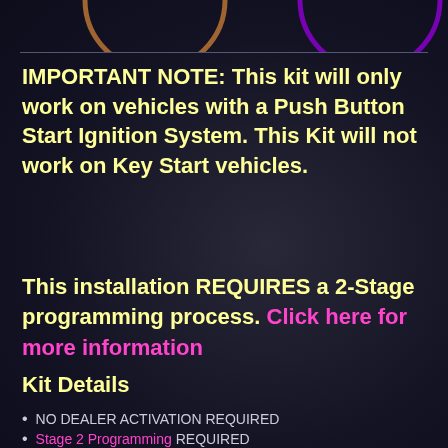IMPORTANT NOTE: This kit will only work on vehicles with a Push Button Start Ignition System. This Kit will not work on Key Start vehicles.
This installation REQUIRES a 2-Stage programming process. Click here for more information
Kit Details
NO DEALER ACTIVATION REQUIRED
Stage 2 Programming REQUIRED